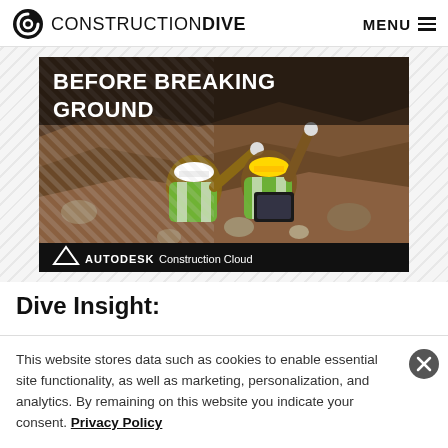CONSTRUCTION DIVE  MENU
[Figure (illustration): Advertisement image for Autodesk Construction Cloud showing two construction workers in high-visibility vests and hard hats looking at a tablet in an excavation site. Text overlay reads 'BEFORE BREAKING GROUND'. Autodesk Construction Cloud logo at bottom.]
Dive Insight:
This website stores data such as cookies to enable essential site functionality, as well as marketing, personalization, and analytics. By remaining on this website you indicate your consent. Privacy Policy